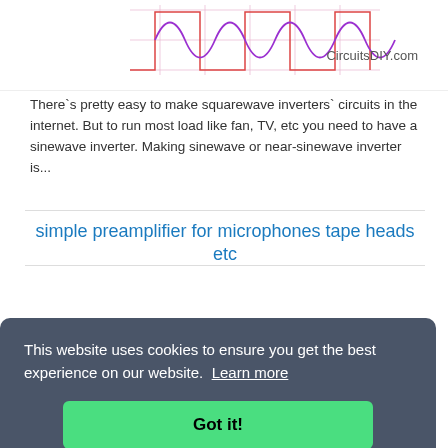[Figure (schematic): Waveform/inverter circuit diagram showing squarewave and sinewave output with grid lines and pink/purple waveforms on white background. CircuitsDIY.com watermark visible.]
There`s pretty easy to make squarewave inverters` circuits in the internet. But to run most load like fan, TV, etc you need to have a sinewave inverter. Making sinewave or near-sinewave inverter is...
simple preamplifier for microphones tape heads etc
[Figure (circuit-diagram): Electronic circuit schematic showing preamplifier for microphones with components C1, 47Kp1, PAD1, INPUT labels visible. Partially obscured by cookie consent overlay.]
This website uses cookies to ensure you get the best experience on our website.  Learn more
Got it!